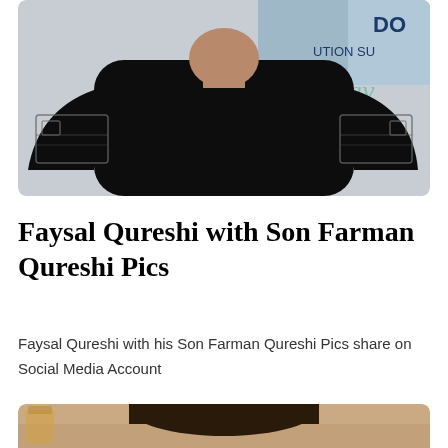[Figure (photo): A man wearing a black sweater with decorative patterned sleeves, standing in front of a light blue/white background with partial text visible]
Faysal Qureshi with Son Farman Qureshi Pics
Faysal Qureshi with his Son Farman Qureshi Pics share on Social Media Account
[Figure (photo): Partial photo showing top of a young person's head with dark brown hair, beige/cream background]